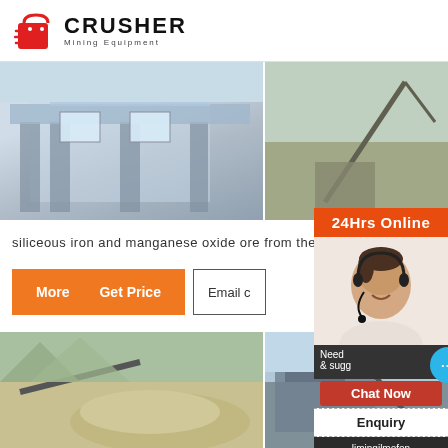CRUSHER Mining Equipment
[Figure (photo): Mining equipment building/structure with metal frame, industrial facility, left image top row]
[Figure (photo): Mining crane machinery outdoors, right image top row]
siliceous iron and manganese oxide ore from the tri
More   Get Price   Email c
[Figure (photo): Pile of crushed stone/aggregate with conveyor belt in mountains, bottom left]
[Figure (photo): Industrial crusher machinery on site, bottom right]
24Hrs Online
Need & sugg
Chat Now
Enquiry
limingjlmofen@sina.com